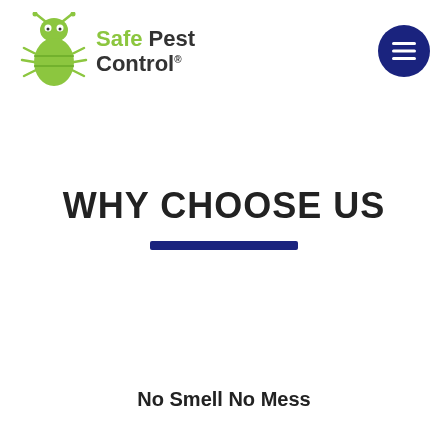[Figure (logo): Safe Pest Control logo: green cartoon bug icon on left, text 'Safe Pest Control®' in green and dark gray on right]
[Figure (other): Dark navy blue circular hamburger menu button with three horizontal white lines]
WHY CHOOSE US
No Smell No Mess